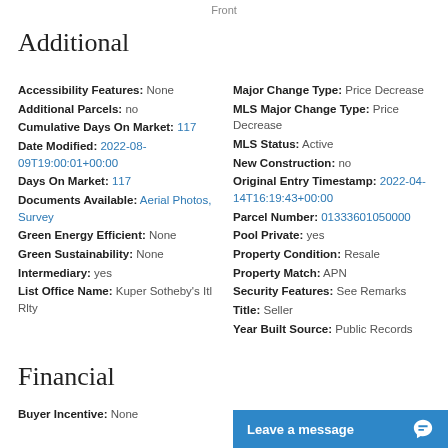Front
Additional
Accessibility Features: None
Additional Parcels: no
Cumulative Days On Market: 117
Date Modified: 2022-08-09T19:00:01+00:00
Days On Market: 117
Documents Available: Aerial Photos, Survey
Green Energy Efficient: None
Green Sustainability: None
Intermediary: yes
List Office Name: Kuper Sotheby's Itl Rlty
Major Change Type: Price Decrease
MLS Major Change Type: Price Decrease
MLS Status: Active
New Construction: no
Original Entry Timestamp: 2022-04-14T16:19:43+00:00
Parcel Number: 01333601050000
Pool Private: yes
Property Condition: Resale
Property Match: APN
Security Features: See Remarks
Title: Seller
Year Built Source: Public Records
Financial
Buyer Incentive: None
Leave a message